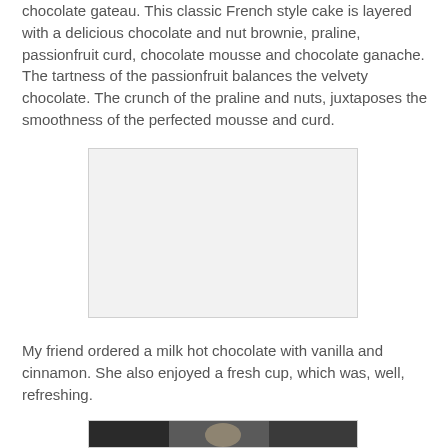chocolate gateau.  This classic French style cake is layered with a delicious chocolate and nut brownie, praline, passionfruit curd, chocolate mousse and chocolate ganache.  The tartness of the passionfruit balances the velvety chocolate.  The crunch of the praline and nuts, juxtaposes the smoothness of the perfected mousse and curd.
[Figure (photo): A large white/blank rectangular image placeholder, likely a photo of the chocolate gateau dessert]
My friend ordered a milk hot chocolate with vanilla and cinnamon.  She also enjoyed a fresh cup, which was, well, refreshing.
[Figure (photo): Partial view of a dark photo at the bottom of the page, appears to show people or food]